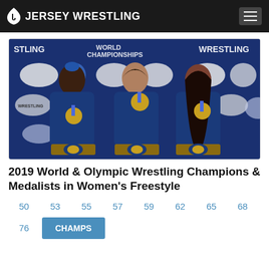JERSEY WRESTLING
[Figure (photo): Three women wrestlers in blue team jackets holding gold medals and championship belts, posing in front of a World Championships / Wrestling backdrop with sponsor logos]
2019 World & Olympic Wrestling Champions & Medalists in Women's Freestyle
50
53
55
57
59
62
65
68
72
76
CHAMPS